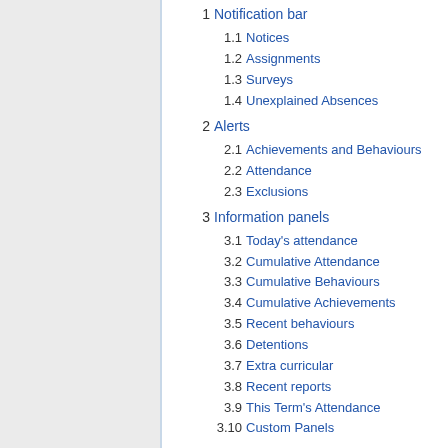1  Notification bar
1.1  Notices
1.2  Assignments
1.3  Surveys
1.4  Unexplained Absences
2  Alerts
2.1  Achievements and Behaviours
2.2  Attendance
2.3  Exclusions
3  Information panels
3.1  Today's attendance
3.2  Cumulative Attendance
3.3  Cumulative Behaviours
3.4  Cumulative Achievements
3.5  Recent behaviours
3.6  Detentions
3.7  Extra curricular
3.8  Recent reports
3.9  This Term's Attendance
3.10  Custom Panels